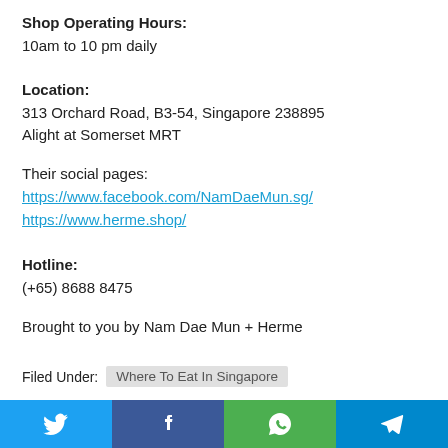Shop Operating Hours:
10am to 10 pm daily
Location:
313 Orchard Road, B3-54, Singapore 238895
Alight at Somerset MRT
Their social pages:
https://www.facebook.com/NamDaeMun.sg/
https://www.herme.shop/
Hotline:
(+65) 8688 8475
Brought to you by Nam Dae Mun + Herme
Filed Under: Where To Eat In Singapore
[Figure (infographic): Social share bar with Twitter, Facebook, WhatsApp, and Telegram buttons]